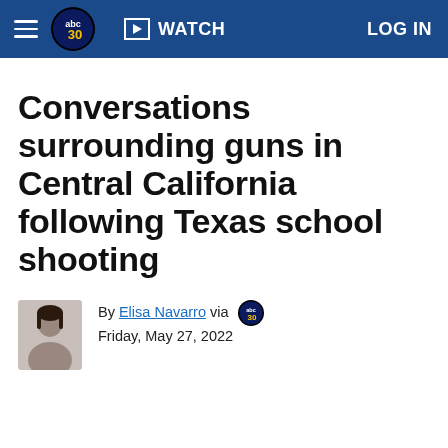ABC30 | WATCH | LOG IN
Conversations surrounding guns in Central California following Texas school shooting
By Elisa Navarro via ABC30
Friday, May 27, 2022